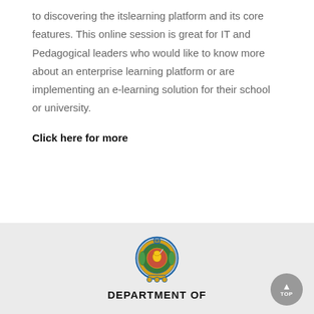to discovering the itslearning platform and its core features. This online session is great for IT and Pedagogical leaders who would like to know more about an enterprise learning platform or are implementing an e-learning solution for their school or university.
Click here for more
[Figure (logo): Sri Lanka Department of Education coat of arms / emblem logo in blue, gold, and red]
DEPARTMENT OF